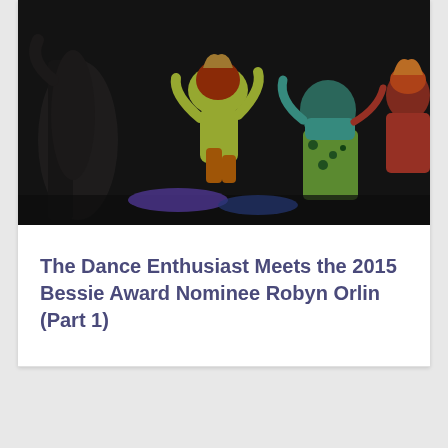[Figure (photo): Dance performance photo showing colorful costumed performers on a dark stage, one performer in green/lime costume leaping, others in vibrant African-print fabrics]
The Dance Enthusiast Meets the 2015 Bessie Award Nominee Robyn Orlin (Part 1)
View All From This Author